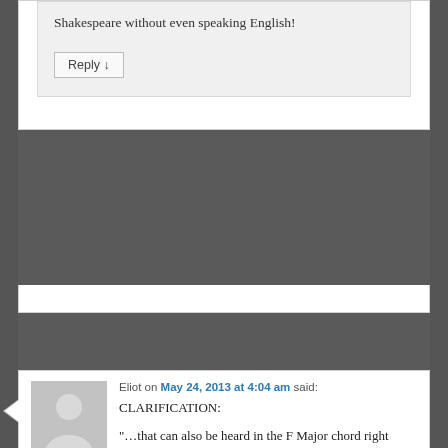Shakespeare without even speaking English!
Reply ↓
Eliot on May 24, 2013 at 4:04 am said:
CLARIFICATION:
“…that can also be heard in the F Major chord right before the bridge down to the d minor basso chorus.” IN “WHITE KEYS”.
“On a more subjective, abstract level, the piece evokes the same sense of mystery and